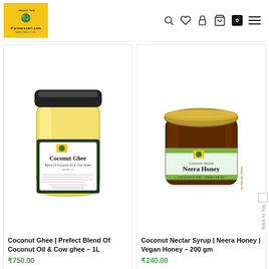[Figure (logo): iFarmerscart.com organic farming logo with globe icon on yellow background]
[Figure (screenshot): Navigation icons: search, heart/wishlist, lock, shopping basket with 0 badge, hamburger menu]
[Figure (photo): Coconut Ghee product in a large clear glass jar with black lid and branded label]
Coconut Ghee | Prefect Blend Of Coconut Oil & Cow ghee – 1L
₹750.00
[Figure (photo): Neera Honey / Coconut Nectar Syrup in dark amber glass jar with gold lid and green-white label]
Coconut Nectar Syrup | Neera Honey | Vegan Honey – 200 gm
₹240.00